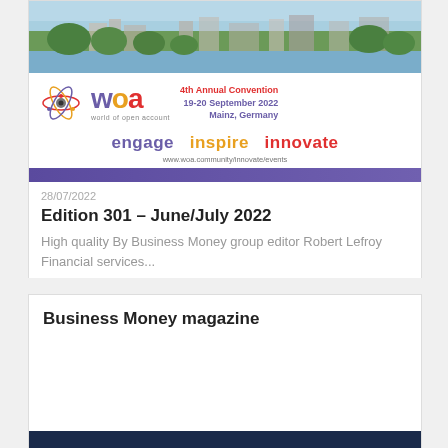[Figure (infographic): WOA (World of Open Account) 4th Annual Convention banner with city skyline photo, atom logo, event details (19-20 September 2022, Mainz, Germany), tagline 'engage inspire innovate', and URL www.woa.community/innovate/events]
28/07/2022
Edition 301 – June/July 2022
High quality By Business Money group editor Robert Lefroy Financial services...
Business Money magazine